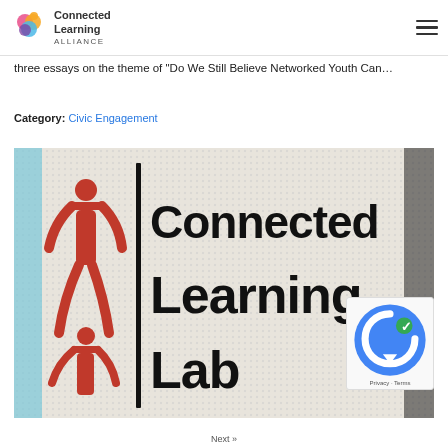Connected Learning Alliance
three essays on the theme of “Do We Still Believe Networked Youth Can…
Category: Civic Engagement
[Figure (photo): Photo of a pixelated/dot-matrix sign reading 'Connected Learning Lab' with a red figure logo on the left side]
Next »